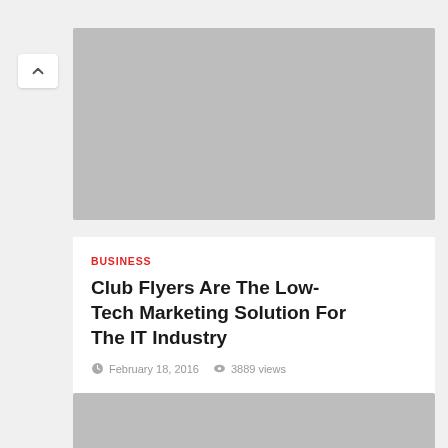[Figure (photo): Gray placeholder image at the top of the article card]
[Figure (other): Navigation back/up chevron button in top left]
BUSINESS
Club Flyers Are The Low-Tech Marketing Solution For The IT Industry
February 18, 2016  3889 views
[Figure (photo): Second gray placeholder image below the article card]